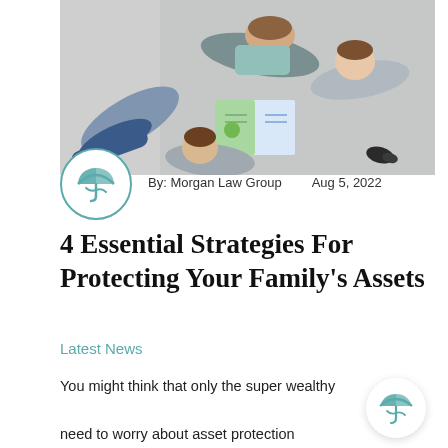[Figure (photo): Overhead view of a family (adult and two children) lying on a gray rug looking at a colorful book together]
[Figure (logo): Morgan Law Group logo: teal umbrella with hands icon in a circle]
By: Morgan Law Group    Aug 5, 2022
4 Essential Strategies For Protecting Your Family’s Assets
Latest News
You might think that only the super wealthy need to worry about asset protection planning. But the truth is that if you don’t have millions, you may
[Figure (logo): Morgan Law Group small logo bottom right corner]